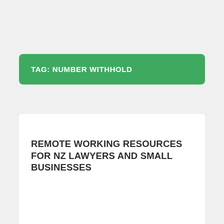TAG: NUMBER WITHHOLD
REMOTE WORKING RESOURCES FOR NZ LAWYERS AND SMALL BUSINESSES
POSTED ON APRIL 1, 2020 BY MATT TAYLOR LEAVE A COMMENT
[Figure (photo): Partial photo of a laptop or computer screen, cropped at bottom of page]